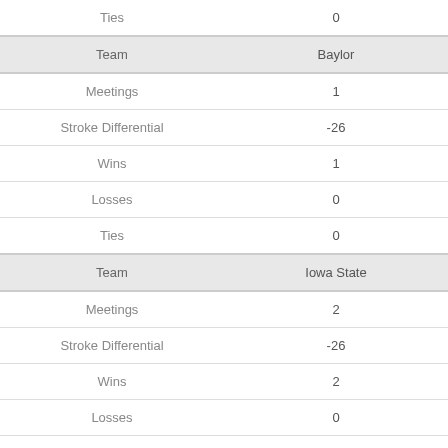|  |  |
| --- | --- |
| Ties | 0 |
| Team | Baylor |
| Meetings | 1 |
| Stroke Differential | -26 |
| Wins | 1 |
| Losses | 0 |
| Ties | 0 |
| Team | Iowa State |
| Meetings | 2 |
| Stroke Differential | -26 |
| Wins | 2 |
| Losses | 0 |
| Ties | 0 |
| Team | Chattanooga |